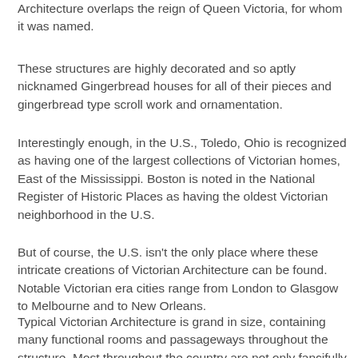Architecture overlaps the reign of Queen Victoria, for whom it was named.
These structures are highly decorated and so aptly nicknamed Gingerbread houses for all of their pieces and gingerbread type scroll work and ornamentation.
Interestingly enough, in the U.S., Toledo, Ohio is recognized as having one of the largest collections of Victorian homes, East of the Mississippi. Boston is noted in the National Register of Historic Places as having the oldest Victorian neighborhood in the U.S.
But of course, the U.S. isn't the only place where these intricate creations of Victorian Architecture can be found. Notable Victorian era cities range from London to Glasgow to Melbourne and to New Orleans.
Typical Victorian Architecture is grand in size, containing many functional rooms and passageways throughout the structure. Most throughout the country are not only fancifully decorated with intricate woodwork throughout, but they are